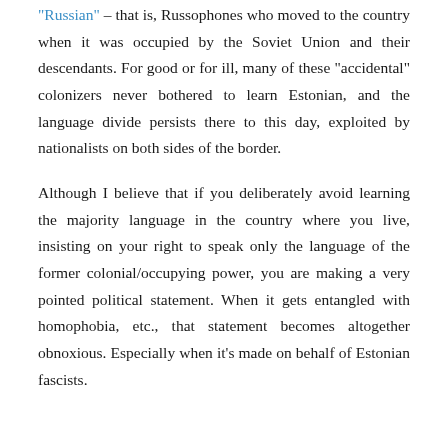“Russian” – that is, Russophones who moved to the country when it was occupied by the Soviet Union and their descendants. For good or for ill, many of these “accidental” colonizers never bothered to learn Estonian, and the language divide persists there to this day, exploited by nationalists on both sides of the border.
Although I believe that if you deliberately avoid learning the majority language in the country where you live, insisting on your right to speak only the language of the former colonial/occupying power, you are making a very pointed political statement. When it gets entangled with homophobia, etc., that statement becomes altogether obnoxious. Especially when it’s made on behalf of Estonian fascists.